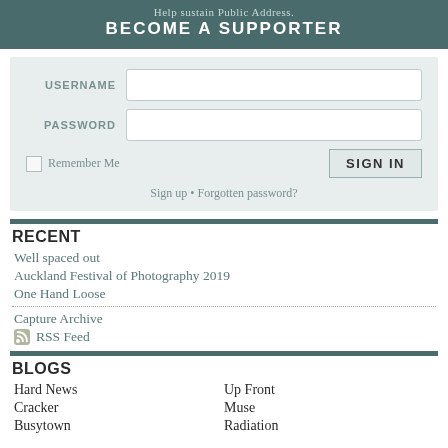Help sustain Public Address. BECOME A SUPPORTER
[Figure (screenshot): Login form with USERNAME and PASSWORD fields, Remember Me checkbox, SIGN IN button, and Sign up / Forgotten password links]
RECENT
Well spaced out
Auckland Festival of Photography 2019
One Hand Loose
Capture Archive
RSS Feed
BLOGS
Hard News
Up Front
Cracker
Muse
Busytown
Radiation